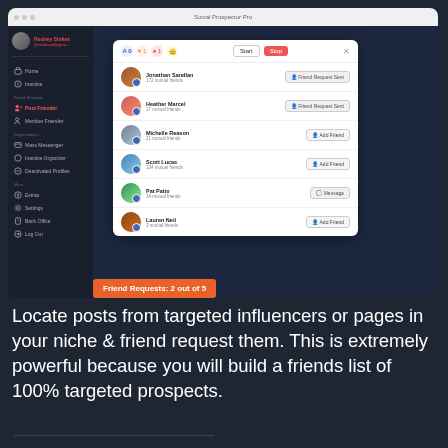[Figure (screenshot): Screenshot of Social Prospector Pro application showing a browser window with a sidebar navigation and a modal dialog listing people to friend request. The modal shows: Jonathan Sandlan (172 mutual friends, Friend Request Sent), Heather Marcel (17 mutual friends, Friend Request Sent), Michelle Reason (21 mutual friends, Add Friend), Scott Lucas (134 mutual friends, Add Friend), Pat Patio (14 mutual friends, Message), Lauren Neil (3 mutual friends, Add Friend). An orange badge reads: Friend Requests: 2 out of 5]
Locate posts from targeted influencers or pages in your niche & friend request them. This is extremely powerful because you will build a friends list of 100% targeted prospects.